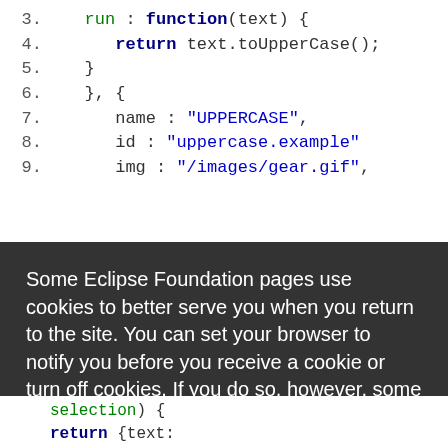[Figure (screenshot): Code editor screenshot showing JavaScript code lines 3-9 with syntax highlighting: keywords in bold dark, strings in blue, code in green. Lines show: run: function(text){, return text.toUpperCase();, }, }, {, name: 'UPPERCASE',, id: 'uppercase.example',, img: '/images/gear.gif',]
Some Eclipse Foundation pages use cookies to better serve you when you return to the site. You can set your browser to notify you before you receive a cookie or turn off cookies. If you do so, however, some areas of some sites may not function properly. To read Eclipse Foundation Privacy Policy
click here.
Decline
Allow cookies
[Figure (screenshot): Partial code visible at bottom: selection) { and return {text:]